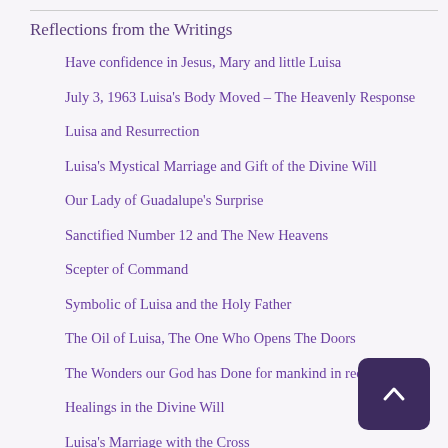Reflections from the Writings
Have confidence in Jesus, Mary and little Luisa
July 3, 1963 Luisa's Body Moved – The Heavenly Response
Luisa and Resurrection
Luisa's Mystical Marriage and Gift of the Divine Will
Our Lady of Guadalupe's Surprise
Sanctified Number 12 and The New Heavens
Scepter of Command
Symbolic of Luisa and the Holy Father
The Oil of Luisa, The One Who Opens The Doors
The Wonders our God has Done for mankind in recent days
Healings in the Divine Will
Luisa's Marriage with the Cross
One With Luisa